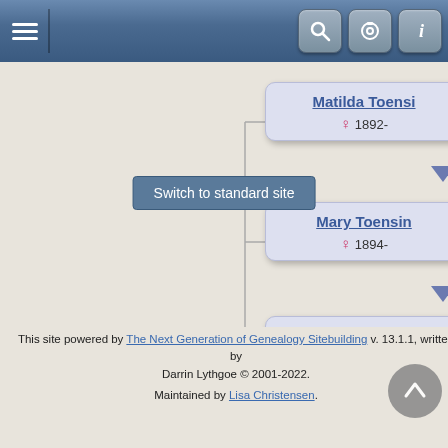[Figure (screenshot): Top navigation bar with hamburger menu and icons for search, camera, and info]
[Figure (screenshot): Zoom controls: zoom in, 1:1, zoom out buttons]
[Figure (organizational-chart): Genealogy fan/descendant chart showing three person cards: Matilda Toensi (female, 1892-), Mary Toensin (female, 1894-), Henry Toensin (male, about 1896-) with connecting lines and down arrows]
Switch to standard site
This site powered by The Next Generation of Genealogy Sitebuilding v. 13.1.1, written by Darrin Lythgoe © 2001-2022.
Maintained by Lisa Christensen.